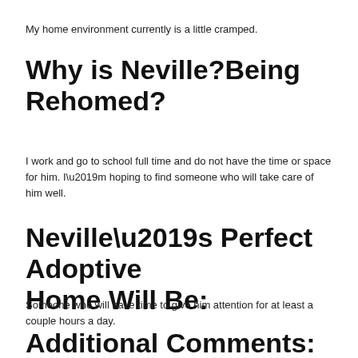My home environment currently is a little cramped.
Why is Neville?Being Rehomed?
I work and go to school full time and do not have the time or space for him. I’m hoping to find someone who will take care of him well.
Neville’s Perfect Adoptive Home Will Be:
Someone who will have time to give him attention for at least a couple hours a day.
Additional Comments: